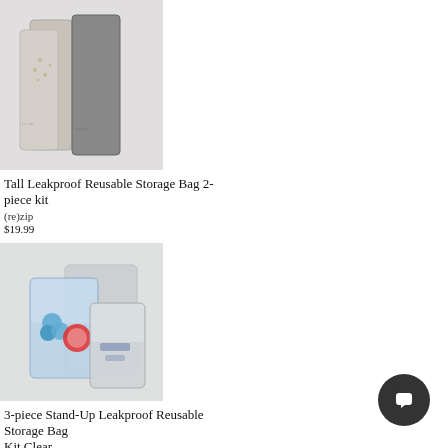[Figure (photo): Product photo of Tall Leakproof Reusable Storage Bag 2-piece kit from (re)zip — two tall stand-up bags, one with grains/rice, shown on light grey background]
Tall Leakproof Reusable Storage Bag 2-piece kit
(re)zip
$19.99
[Figure (photo): Product photo of 3-piece Stand-Up Leakproof Reusable Storage Bag Kit Clear from (re)zip — three clear stand-up bags containing small items, on light grey background]
3-piece Stand-Up Leakproof Reusable Storage Bag Kit Clear
(re)zip
$19.99
[Figure (photo): Partial product image at bottom of page showing teal/turquoise storage bag edge]